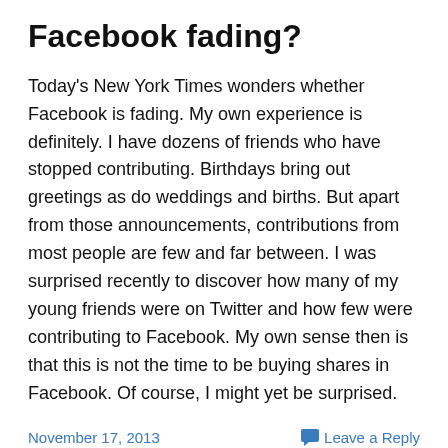Facebook fading?
Today's New York Times wonders whether Facebook is fading. My own experience is definitely. I have dozens of friends who have stopped contributing. Birthdays bring out greetings as do weddings and births. But apart from those announcements, contributions from most people are few and far between. I was surprised recently to discover how many of my young friends were on Twitter and how few were contributing to Facebook. My own sense then is that this is not the time to be buying shares in Facebook. Of course, I might yet be surprised.
November 17, 2013
Leave a Reply
The future November 2013